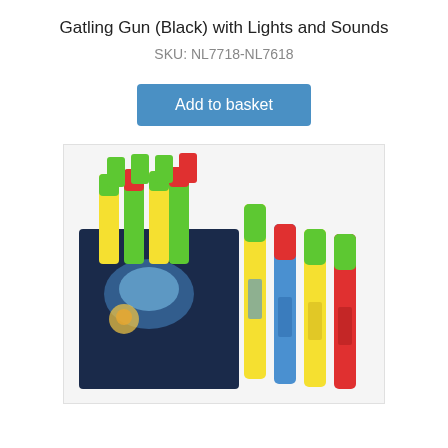Gatling Gun (Black) with Lights and Sounds
SKU: NL7718-NL7618
[Figure (photo): Product photo showing colorful foam/plastic tube water guns in green, yellow, blue, and red colors, displayed standing upright in a retail box and also laid out individually]
Add to basket